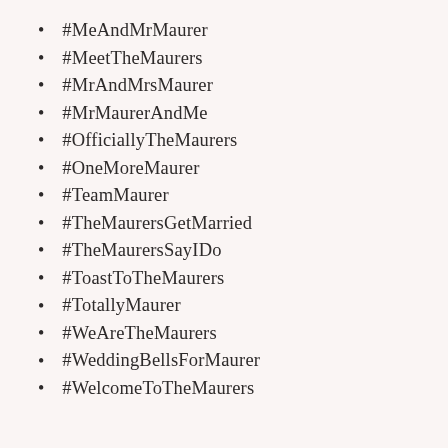#MeAndMrMaurer
#MeetTheMaurers
#MrAndMrsMaurer
#MrMaurerAndMe
#OfficiallyTheMaurers
#OneMoreMaurer
#TeamMaurer
#TheMaurersGetMarried
#TheMaurersSayIDo
#ToastToTheMaurers
#TotallyMaurer
#WeAreTheMaurers
#WeddingBellsForMaurer
#WelcomeToTheMaurers